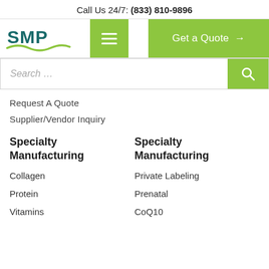Call Us 24/7: (833) 810-9896
[Figure (logo): SMP company logo with green wave underline]
Request A Quote
Supplier/Vendor Inquiry
Specialty Manufacturing
Specialty Manufacturing
Collagen
Private Labeling
Protein
Prenatal
Vitamins
CoQ10